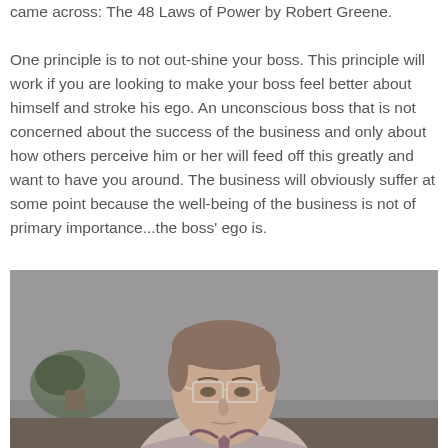came across: The 48 Laws of Power by Robert Greene.
One principle is to not out-shine your boss. This principle will work if you are looking to make your boss feel better about himself and stroke his ego. An unconscious boss that is not concerned about the success of the business and only about how others perceive him or her will feed off this greatly and want to have you around. The business will obviously suffer at some point because the well-being of the business is not of primary importance...the boss’ ego is.
[Figure (photo): Black and white photo of a man with glasses looking downward, wearing a suit with suspenders and a tie, in an office setting with a plant visible in the background.]